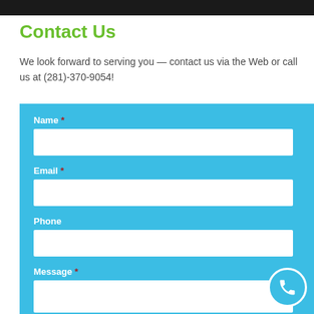[Figure (photo): Top black bar with partial image visible]
Contact Us
We look forward to serving you — contact us via the Web or call us at (281)-370-9054!
[Figure (other): Contact form with fields: Name (required), Email (required), Phone, Message (required) on a light blue background]
[Figure (other): Phone icon circle button in bottom right corner]